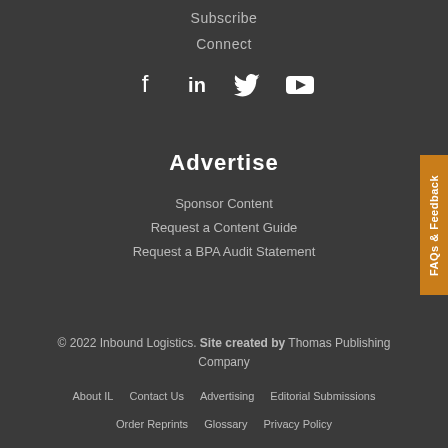Subscribe
Connect
[Figure (illustration): Social media icons: Facebook, LinkedIn, Twitter, YouTube]
Advertise
Sponsor Content
Request a Content Guide
Request a BPA Audit Statement
© 2022 Inbound Logistics. Site created by Thomas Publishing Company
About IL   Contact Us   Advertising   Editorial Submissions
Order Reprints   Glossary   Privacy Policy